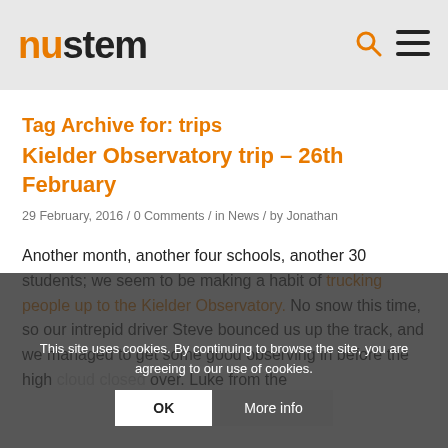nustem
Tag Archive for: trips
Kielder Observatory trip – 26th February
29 February, 2016 / 0 Comments / in News / by Jonathan
Another month, another four schools, another 30 students; we seem to be making a habit of trucking people up to the Kielder Observatory. No snow this time, so our intrepid driver Steve bounced us up the track, and we managed to get some good observing in before the high cloud closed over. Luke from the
This site uses cookies. By continuing to browse the site, you are agreeing to our use of cookies.
OK | More info